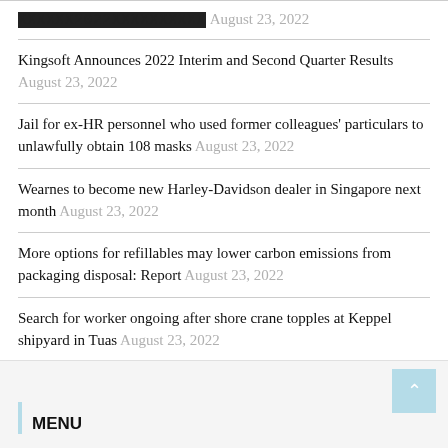XXXXXX2022XXXXXXXXXX August 23, 2022
Kingsoft Announces 2022 Interim and Second Quarter Results August 23, 2022
Jail for ex-HR personnel who used former colleagues' particulars to unlawfully obtain 108 masks August 23, 2022
Wearnes to become new Harley-Davidson dealer in Singapore next month August 23, 2022
More options for refillables may lower carbon emissions from packaging disposal: Report August 23, 2022
Search for worker ongoing after shore crane topples at Keppel shipyard in Tuas August 23, 2022
MENU